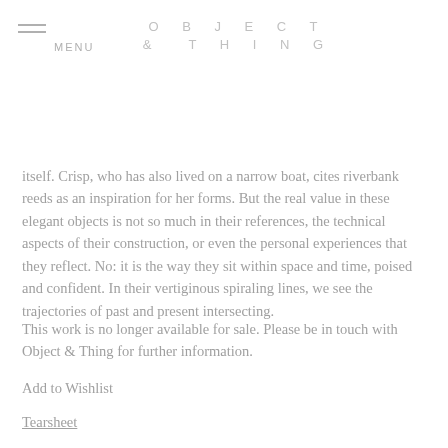MENU   OBJECT & THING
itself. Crisp, who has also lived on a narrow boat, cites riverbank reeds as an inspiration for her forms. But the real value in these elegant objects is not so much in their references, the technical aspects of their construction, or even the personal experiences that they reflect. No: it is the way they sit within space and time, poised and confident. In their vertiginous spiraling lines, we see the trajectories of past and present intersecting.
This work is no longer available for sale. Please be in touch with Object & Thing for further information.
Add to Wishlist
Tearsheet
DIMENSIONS